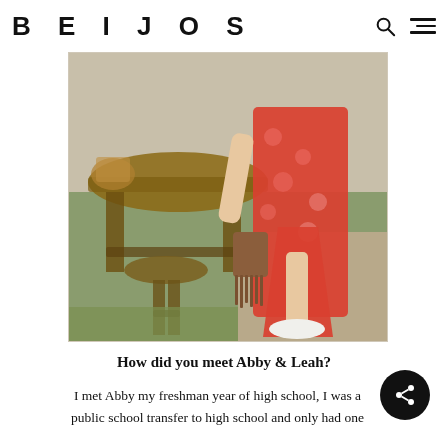BEIJOS
[Figure (photo): A woman in a red floral maxi dress with a slit, holding a brown fringe bag, standing next to rustic wooden outdoor furniture on a patio with grass and pavement in the background.]
How did you meet Abby & Leah?
I met Abby my freshman year of high school, I was a public school transfer to high school and only had one